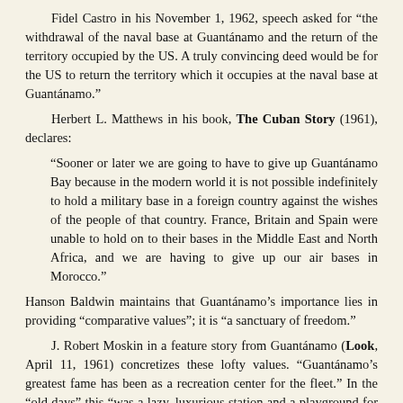Fidel Castro in his November 1, 1962, speech asked for “the withdrawal of the naval base at Guantánamo and the return of the territory occupied by the US. A truly convincing deed would be for the US to return the territory which it occupies at the naval base at Guantánamo.”
Herbert L. Matthews in his book, The Cuban Story (1961), declares:
“Sooner or later we are going to have to give up Guantánamo Bay because in the modern world it is not possible indefinitely to hold a military base in a foreign country against the wishes of the people of that country. France, Britain and Spain were unable to hold on to their bases in the Middle East and North Africa, and we are having to give up our air bases in Morocco.”
Hanson Baldwin maintains that Guantánamo’s importance lies in providing “comparative values”; it is “a sanctuary of freedom.”
J. Robert Moskin in a feature story from Guantánamo (Look, April 11, 1961) concretizes these lofty values. “Guantánamo’s greatest fame has been as a recreation center for the fleet.” In the “old days” this “was a lazy, luxurious station and a playground for the men from the